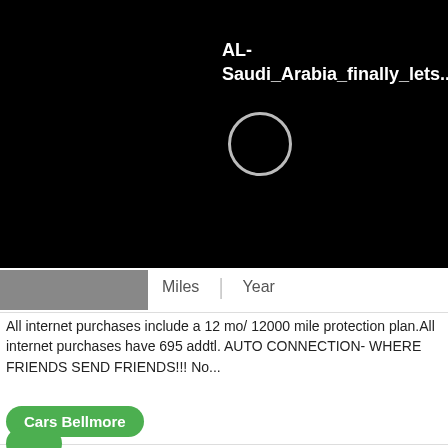[Figure (screenshot): Black bar with white text showing 'AL-Saudi_Arabia_finally_lets...' and a circular icon outline]
Miles   Year
All internet purchases include a 12 mo/ 12000 mile protection plan.All internet purchases have 695 addtl. AUTO CONNECTION- WHERE FRIENDS SEND FRIENDS!!! No...
Cars Bellmore
[Figure (photo): Photo of a dark Mercedes-Benz C-Class car in a dealership lot with Connection Inc. sign visible]
2012 Mercedes-Benz C-Class 4dr Car C300 Sport
Bellmore, NY
$23,500
12000 Miles   2012 Year
All web purchases consist of a 12 mo/ 12000 mile protection plan.All internet purchases have 695 addtl. CAR CONNECTION- WHERE FRIENDS SEND FRIENDS!!! No Need...